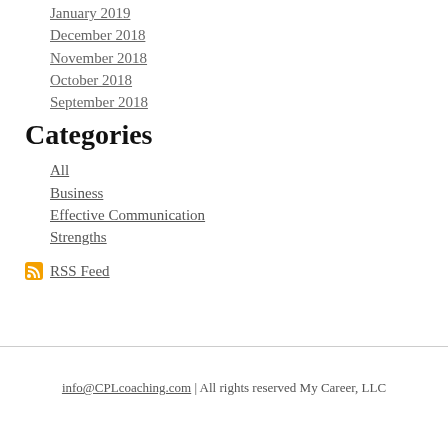January 2019
December 2018
November 2018
October 2018
September 2018
Categories
All
Business
Effective Communication
Strengths
RSS Feed
info@CPLcoaching.com | All rights reserved My Career, LLC